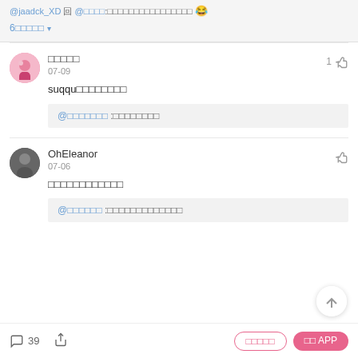@jaadck_XD @ @□□□□:□□□□□□□□□□□□□□□□ 😂
6□□□□□ ▾
□□□□□
07-09
suqqu□□□□□□□□
@□□□□□□□ :□□□□□□□□
OhEleanor
07-06
□□□□□□□□□□□□
@□□□□□□ :□□□□□□□□□□□□□
39
□□□□□
□□ APP